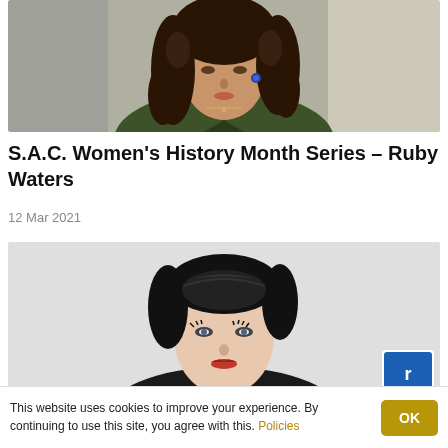[Figure (photo): Photo of a woman with curly dark hair wearing an olive green jacket, photographed against a concrete wall background]
S.A.C. Women’s History Month Series – Ruby Waters
12 Mar 2021
[Figure (photo): Photo of a woman with black upswept hair, pale skin, wearing dramatic eye makeup and red lipstick, photographed against a light grey background]
This website uses cookies to improve your experience. By continuing to use this site, you agree with this. Policies